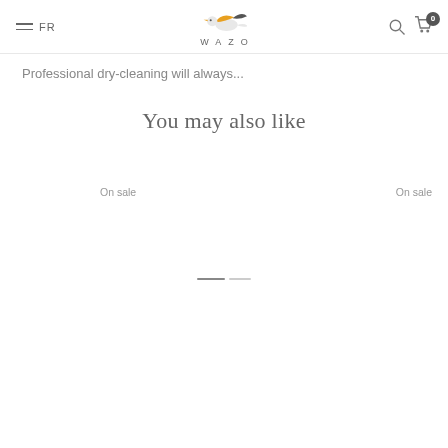FR  WAZO
Professional dry-cleaning will always...
You may also like
On sale
On sale